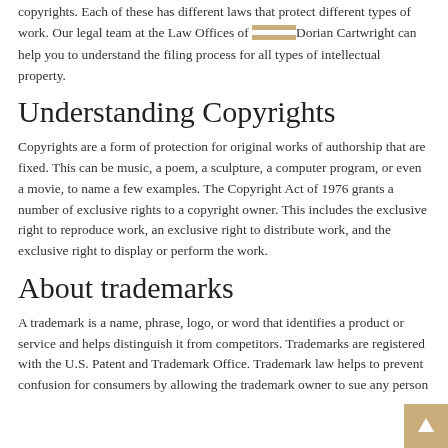copyrights. Each of these has different laws that protect different types of work. Our legal team at the Law Offices of Dorian Cartwright can help you to understand the filing process for all types of intellectual property.
Understanding Copyrights
Copyrights are a form of protection for original works of authorship that are fixed. This can be music, a poem, a sculpture, a computer program, or even a movie, to name a few examples. The Copyright Act of 1976 grants a number of exclusive rights to a copyright owner. This includes the exclusive right to reproduce work, an exclusive right to distribute work, and the exclusive right to display or perform the work.
About trademarks
A trademark is a name, phrase, logo, or word that identifies a product or service and helps distinguish it from competitors. Trademarks are registered with the U.S. Patent and Trademark Office. Trademark law helps to prevent confusion for consumers by allowing the trademark owner to sue any person